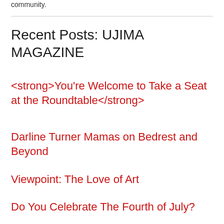community.
Recent Posts: UJIMA MAGAZINE
<strong>You're Welcome to Take a Seat at the Roundtable</strong>
Darline Turner Mamas on Bedrest and Beyond
Viewpoint: The Love of Art
Do You Celebrate The Fourth of July?